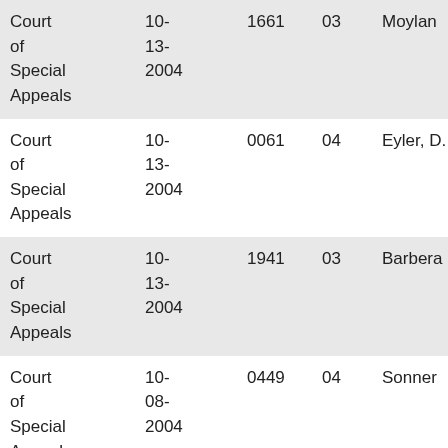| Court | Date | Case No. | Col4 | Judge | Party |
| --- | --- | --- | --- | --- | --- |
| Court of Special Appeals | 10-13-2004 | 1661 | 03 | Moylan | John Anto |
| Court of Special Appeals | 10-13-2004 | 0061 | 04 | Eyler, D. | Dav |
| Court of Special Appeals | 10-13-2004 | 1941 | 03 | Barbera | Kane |
| Court of Special Appeals | 10-08-2004 | 0449 | 04 | Sonner | Stat |